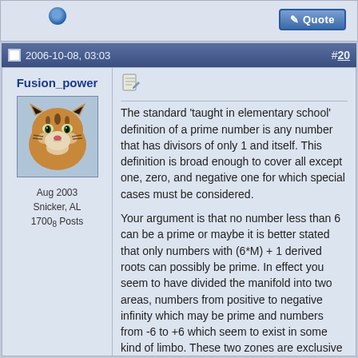2006-10-08, 03:03  #20
Fusion_power
Aug 2003
Snicker, AL
1700₈ Posts
The standard 'taught in elementary school' definition of a prime number is any number that has divisors of only 1 and itself. This definition is broad enough to cover all except one, zero, and negative one for which special cases must be considered.
Your argument is that no number less than 6 can be a prime or maybe it is better stated that only numbers with (6*M) + 1 derived roots can possibly be prime. In effect you seem to have divided the manifold into two areas, numbers from positive to negative infinity which may be prime and numbers from -6 to +6 which seem to exist in some kind of limbo. These two zones are exclusive and do not overlap. Primes may occur only in the - to + infinity range and may not exist in the -6 to +6 range.
It seems to me that a similar argument could be made for all numbers of the form (30*M) + 1 given that 30 is composed of